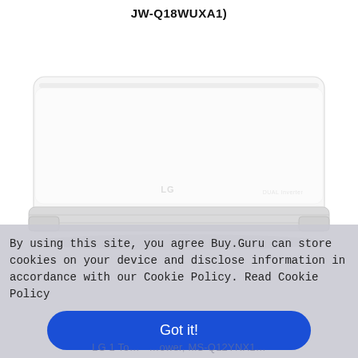JW-Q18WUXA1)
[Figure (photo): LG wall-mounted split air conditioner unit, white rectangular body with silver bottom grille strip, LG logo and 'DUAL Inverter' text on front panel]
By using this site, you agree Buy.Guru can store cookies on your device and disclose information in accordance with our Cookie Policy. Read Cookie Policy
Got it!
LG 1 To... ...ower, MS-Q12YNX1...